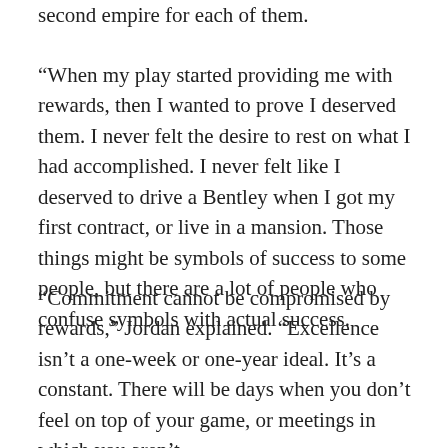second empire for each of them.
“When my play started providing me with rewards, then I wanted to prove I deserved them. I never felt the desire to rest on what I had accomplished. I never felt like I deserved to drive a Bentley when I got my first contract, or live in a mansion. Those things might be symbols of success to some people, but there are a lot of people who confuse symbols with actual success.
“Commitment cannot be compromised by rewards,” Jordan explained. “Excellence isn’t a one-week or one-year ideal. It’s a constant. There will be days when you don’t feel on top of your game, or meetings in which you aren’t